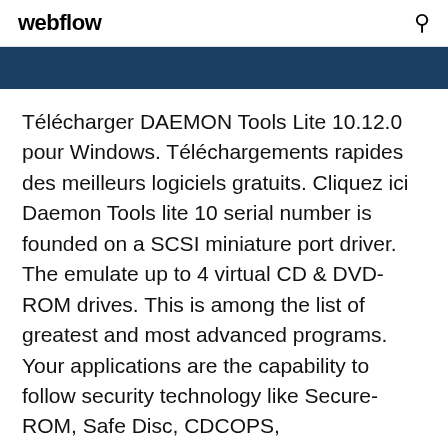webflow
[Figure (other): Dark blue banner strip]
Télécharger DAEMON Tools Lite 10.12.0 pour Windows. Téléchargements rapides des meilleurs logiciels gratuits. Cliquez ici Daemon Tools lite 10 serial number is founded on a SCSI miniature port driver. The emulate up to 4 virtual CD & DVD-ROM drives. This is among the list of greatest and most advanced programs. Your applications are the capability to follow security technology like Secure-ROM, Safe Disc, CDCOPS,